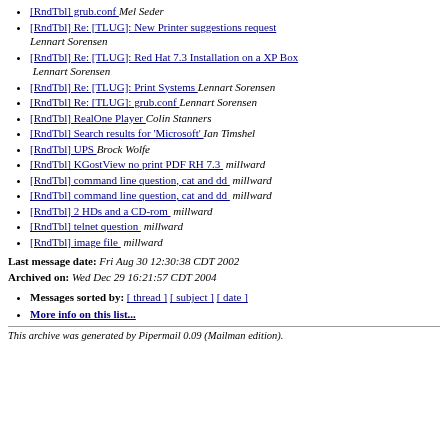[RndTbl] grub.conf  Mel Seder
[RndTbl] Re: [TLUG]: New Printer suggestions request  Lennart Sorensen
[RndTbl] Re: [TLUG]: Red Hat 7.3 Installation on a XP Box  Lennart Sorensen
[RndTbl] Re: [TLUG]: Print Systems  Lennart Sorensen
[RndTbl] Re: [TLUG]: grub.conf  Lennart Sorensen
[RndTbl] RealOne Player  Colin Stanners
[RndTbl] Search results for 'Microsoft'  Ian Timshel
[RndTbl] UPS  Brock Wolfe
[RndTbl] KGostView no print PDF RH 7.3  millward
[RndTbl] command line question, cat and dd  millward
[RndTbl] command line question, cat and dd  millward
[RndTbl] 2 HDs and a CD-rom  millward
[RndTbl] telnet question  millward
[RndTbl] image file  millward
Last message date: Fri Aug 30 12:30:38 CDT 2002
Archived on: Wed Dec 29 16:21:57 CDT 2004
Messages sorted by: [ thread ] [ subject ] [ date ]
More info on this list...
This archive was generated by Pipermail 0.09 (Mailman edition).